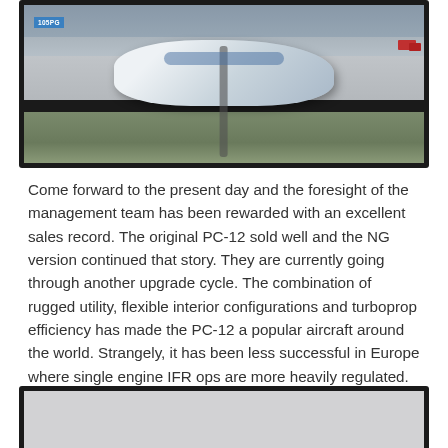[Figure (photo): Photograph of a PC-12 turboprop aircraft on a runway, shown from the front-left angle. The aircraft is white with blue markings. Airport tarmac, grass, and other vehicles/aircraft visible in the background. Black frame border around the photo.]
Come forward to the present day and the foresight of the management team has been rewarded with an excellent sales record. The original PC-12 sold well and the NG version continued that story. They are currently going through another upgrade cycle. The combination of rugged utility, flexible interior configurations and turboprop efficiency has made the PC-12 a popular aircraft around the world. Strangely, it has been less successful in Europe where single engine IFR ops are more heavily regulated.
[Figure (photo): Partially visible photograph at the bottom of the page, showing what appears to be a light gray interior or scene. Black frame border visible. Image is cropped.]